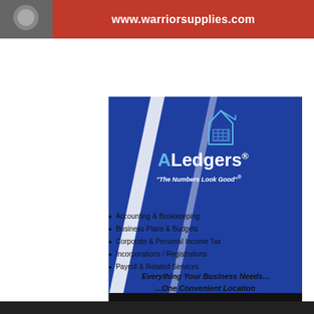[Figure (illustration): Top banner ad for warriorsupplies.com with red background and white URL text]
[Figure (logo): ALedgers logo on blue background with diagonal white stripe, calculator imagery, tagline 'The Numbers Look Good']
Accounting & Bookkeeping
Business Plans & Budgets
Corporate & Personal Income Tax
Incorporations / Registrations
Payroll & Related Services
Everything Your Business Needs... ...One Convenient Location
Call: 807-622-2665     thunderbay.ledgers.com
[Figure (illustration): Bottom partial banner ad with dark background]